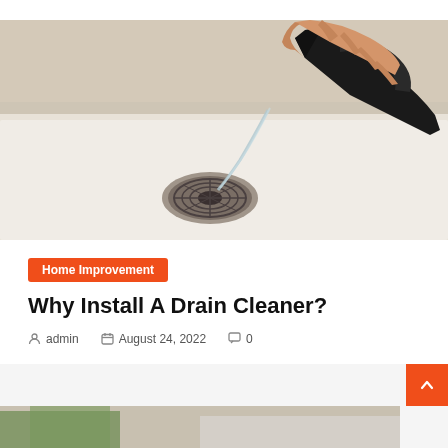[Figure (photo): A hand holding a black plastic jug pouring liquid into a bathtub drain]
Home Improvement
Why Install A Drain Cleaner?
admin   August 24, 2022   0